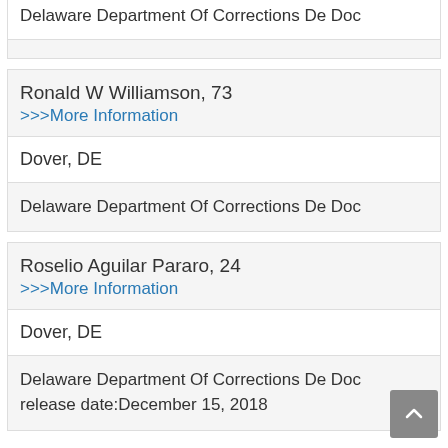Delaware Department Of Corrections De Doc
Ronald W Williamson, 73
>>>More Information
Dover, DE
Delaware Department Of Corrections De Doc
Roselio Aguilar Pararo, 24
>>>More Information
Dover, DE
Delaware Department Of Corrections De Doc release date:December 15, 2018